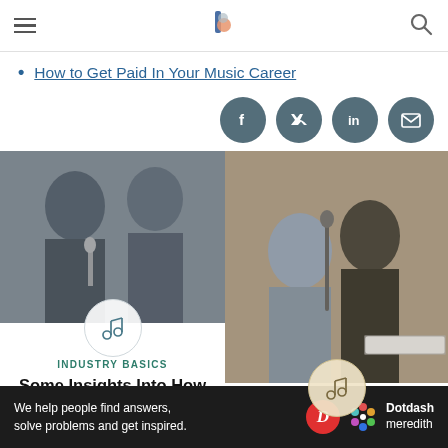Navigation bar with hamburger menu, logo, search icon
How to Get Paid In Your Music Career
[Figure (infographic): Social share buttons: Facebook, Twitter, LinkedIn, Email]
[Figure (photo): Two men in suits at microphones, press conference setting. Music note badge overlay. Category: INDUSTRY BASICS. Title: Some Insights Into How to Make Money in the Music Business]
[Figure (photo): Band performing with microphone, woman and man on stage. Music note badge overlay. Category: INDUSTRY BASICS. Partial title: Learn About Music...]
We help people find answers, solve problems and get inspired. Dotdash meredith